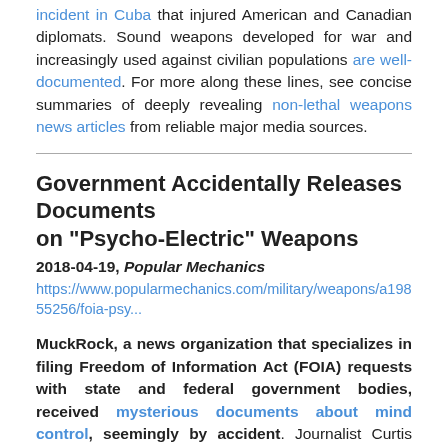incident in Cuba that injured American and Canadian diplomats. Sound weapons developed for war and increasingly used against civilian populations are well-documented. For more along these lines, see concise summaries of deeply revealing non-lethal weapons news articles from reliable major media sources.
Government Accidentally Releases Documents on "Psycho-Electric" Weapons
2018-04-19, Popular Mechanics
https://www.popularmechanics.com/military/weapons/a19855256/foia-psy...
MuckRock, a news organization that specializes in filing Freedom of Information Act (FOIA) requests with state and federal government bodies, received mysterious documents about mind control, seemingly by accident. Journalist Curtis Waltman was writing to the Washington State Fusion Center (WSFC), a joint operation between Washington State law enforcement and the federal government to request information about Antifa and white supremacist groups. He...